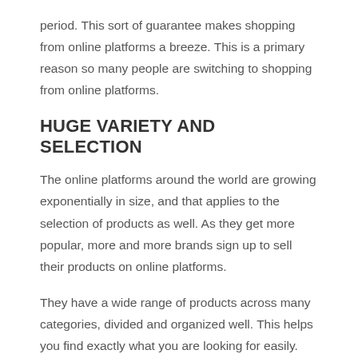period. This sort of guarantee makes shopping from online platforms a breeze. This is a primary reason so many people are switching to shopping from online platforms.
HUGE VARIETY AND SELECTION
The online platforms around the world are growing exponentially in size, and that applies to the selection of products as well. As they get more popular, more and more brands sign up to sell their products on online platforms.
They have a wide range of products across many categories, divided and organized well. This helps you find exactly what you are looking for easily. You may even get software-generated recommendations for products you may need.  This includes hp envy x360 charger buy and many more.
Having a huge variety means that you can assess your